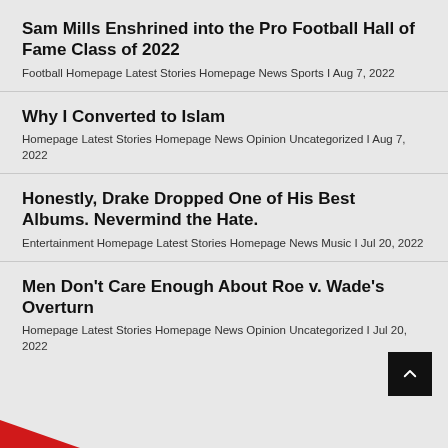Sam Mills Enshrined into the Pro Football Hall of Fame Class of 2022
Football Homepage Latest Stories Homepage News Sports I Aug 7, 2022
Why I Converted to Islam
Homepage Latest Stories Homepage News Opinion Uncategorized I Aug 7, 2022
Honestly, Drake Dropped One of His Best Albums. Nevermind the Hate.
Entertainment Homepage Latest Stories Homepage News Music I Jul 20, 2022
Men Don't Care Enough About Roe v. Wade's Overturn
Homepage Latest Stories Homepage News Opinion Uncategorized I Jul 20, 2022